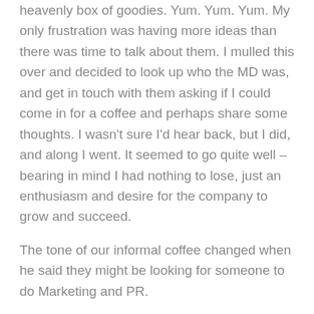heavenly box of goodies. Yum. Yum. Yum. My only frustration was having more ideas than there was time to talk about them. I mulled this over and decided to look up who the MD was, and get in touch with them asking if I could come in for a coffee and perhaps share some thoughts. I wasn't sure I'd hear back, but I did, and along I went. It seemed to go quite well – bearing in mind I had nothing to lose, just an enthusiasm and desire for the company to grow and succeed.
The tone of our informal coffee changed when he said they might be looking for someone to do Marketing and PR.
HELP HELP HELP flashed through my mind, this informal coffee has morphed into a FULL-ON JOB